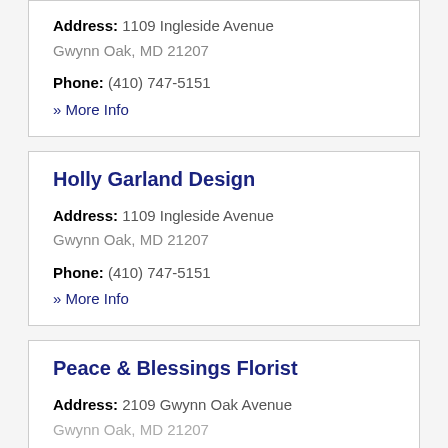Address: 1109 Ingleside Avenue Gwynn Oak, MD 21207
Phone: (410) 747-5151
» More Info
Holly Garland Design
Address: 1109 Ingleside Avenue Gwynn Oak, MD 21207
Phone: (410) 747-5151
» More Info
Peace & Blessings Florist
Address: 2109 Gwynn Oak Avenue Gwynn Oak, MD 21207